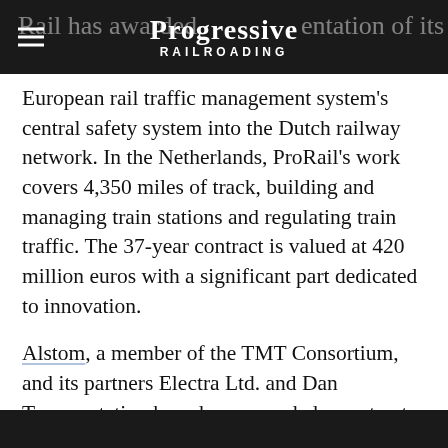Progressive Railroading
Rail has awarded the implementation of its European rail traffic management system's central safety system into the Dutch railway network. In the Netherlands, ProRail's work covers 4,350 miles of track, building and managing train stations and regulating train traffic. The 37-year contract is valued at 420 million euros with a significant part dedicated to innovation.
Alstom, a member of the TMT Consortium, and its partners Electra Ltd. and Dan Transportation have been awarded a contract to design, build, maintain